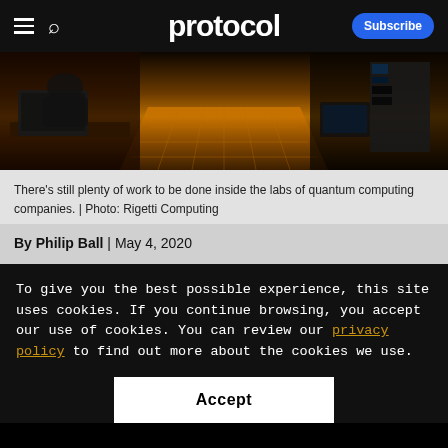protocol | Subscribe
[Figure (photo): Lab photo showing researchers working with computers and equipment in a quantum computing laboratory, with warm amber/golden lighting on the floor.]
There's still plenty of work to be done inside the labs of quantum computing companies. | Photo: Rigetti Computing
By Philip Ball | May 4, 2020
To give you the best possible experience, this site uses cookies. If you continue browsing, you accept our use of cookies. You can review our privacy policy to find out more about the cookies we use.
Accept